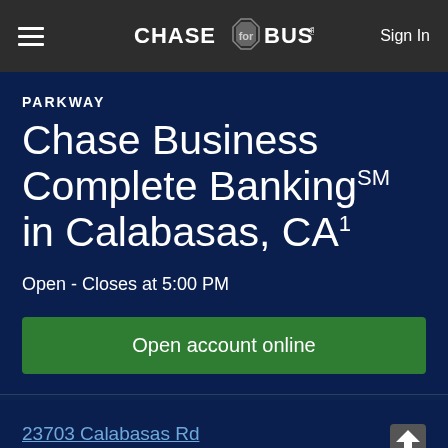CHASE for BUSINESS® Sign In
PARKWAY
Chase Business Complete Banking℠ in Calabasas, CA¹
Open - Closes at 5:00 PM
Open account online
23703 Calabasas Rd Calabasas, CA 91302